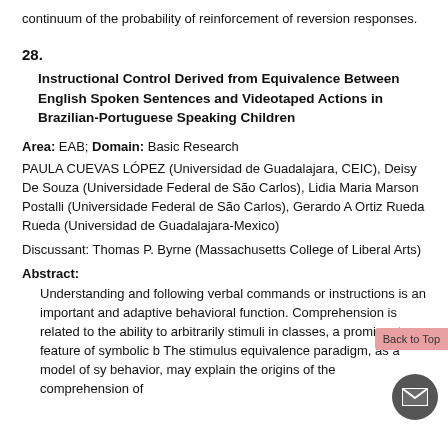continuum of the probability of reinforcement of reversion responses.
28.
Instructional Control Derived from Equivalence Between English Spoken Sentences and Videotaped Actions in Brazilian-Portuguese Speaking Children
Area: EAB; Domain: Basic Research
PAULA CUEVAS LÓPEZ (Universidad de Guadalajara, CEIC), Deisy De Souza (Universidade Federal de São Carlos), Lidia Maria Marson Postalli (Universidade Federal de São Carlos), Gerardo A Ortiz Rueda Rueda (Universidad de Guadalajara-Mexico)
Discussant: Thomas P. Byrne (Massachusetts College of Liberal Arts)
Abstract:
Understanding and following verbal commands or instructions is an important and adaptive behavioral function. Comprehension is related to the ability to arbitrarily stimuli in classes, a prominent feature of symbolic b The stimulus equivalence paradigm, as a model of sy behavior, may explain the origins of the comprehension of